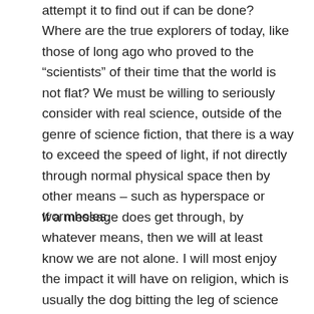attempt it to find out if can be done? Where are the true explorers of today, like those of long ago who proved to the “scientists” of their time that the world is not flat? We must be willing to seriously consider with real science, outside of the genre of science fiction, that there is a way to exceed the speed of light, if not directly through normal physical space then by other means – such as hyperspace or wormholes.
If a message does get through, by whatever means, then we will at least know we are not alone. I will most enjoy the impact it will have on religion, which is usually the dog bitting the leg of science and holding it back.